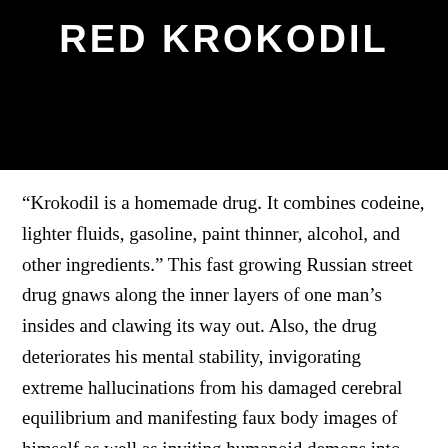[Figure (other): Black banner with the title 'RED KROKODIL' in large bold white uppercase text]
“Krokodil is a homemade drug. It combines codeine, lighter fluids, gasoline, paint thinner, alcohol, and other ingredients.” This fast growing Russian street drug gnaws along the inner layers of one man’s insides and clawing its way out. Also, the drug deteriorates his mental stability, invigorating extreme hallucinations from his damaged cerebral equilibrium and manifesting faux body images of himself as well as inviting humanoid demons into his tattooed reality. The powerful opioid, if fabricated